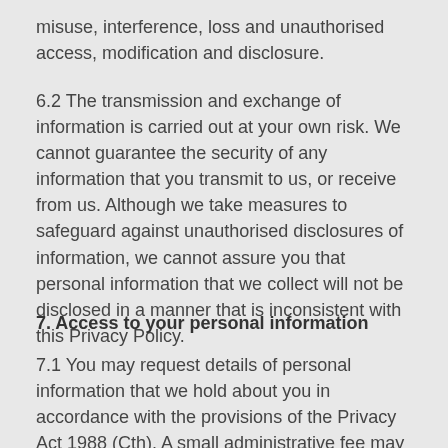misuse, interference, loss and unauthorised access, modification and disclosure.
6.2 The transmission and exchange of information is carried out at your own risk. We cannot guarantee the security of any information that you transmit to us, or receive from us. Although we take measures to safeguard against unauthorised disclosures of information, we cannot assure you that personal information that we collect will not be disclosed in a manner that is inconsistent with this Privacy Policy.
7. Access to your personal information
7.1 You may request details of personal information that we hold about you in accordance with the provisions of the Privacy Act 1988 (Cth). A small administrative fee may be payable for the provision of information. If you would like a